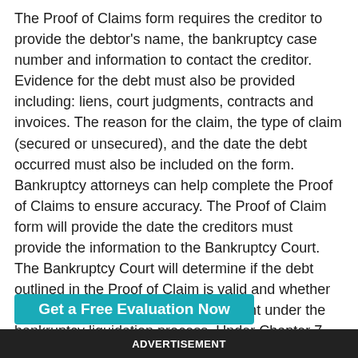The Proof of Claims form requires the creditor to provide the debtor's name, the bankruptcy case number and information to contact the creditor. Evidence for the debt must also be provided including: liens, court judgments, contracts and invoices. The reason for the claim, the type of claim (secured or unsecured), and the date the debt occurred must also be included on the form. Bankruptcy attorneys can help complete the Proof of Claims to ensure accuracy. The Proof of Claim form will provide the date the creditors must provide the information to the Bankruptcy Court. The Bankruptcy Court will determine if the debt outlined in the Proof of Claim is valid and whether or not the creditor will receive payment under the bankruptcy liquidation process. Under Chapter 7 Bankruptcy if a creditor fails to provide a Proof of Claim form to the Bankruptcy Court they may lose their right to payment from the monies collected from liquidating the debtor's assets.
[Figure (other): Teal/cyan call-to-action button partially visible at bottom reading 'Get a Free Evaluation Now']
ADVERTISEMENT